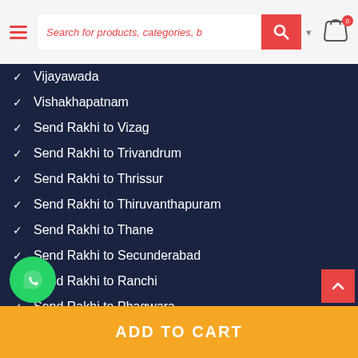Search for products, categories, b
Vijayawada
Vishakhapatnam
Send Rakhi to Vizag
Send Rakhi to Trivandrum
Send Rakhi to Thrissur
Send Rakhi to Thiruvanthapuram
Send Rakhi to Thane
Send Rakhi to Secunderabad
Send Rakhi to Ranchi
Send Rakhi to Phagwara
Send Rakhi to Panchkula
Send Rakhi to Patna
Send Rakhi to Patiala
ADD TO CART